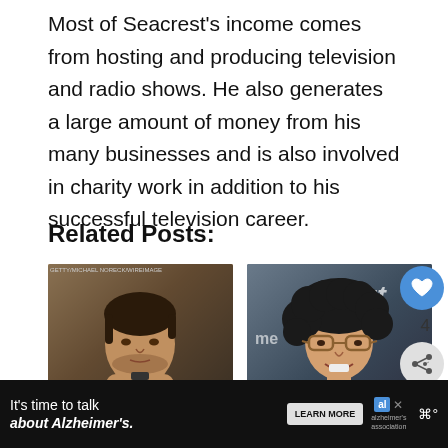Most of Seacrest's income comes from hosting and producing television and radio shows. He also generates a large amount of money from his many businesses and is also involved in charity work in addition to his successful television career.
Related Posts:
[Figure (photo): Photo of Tarek El Moussa in a black suit, adjusting his collar]
Tarek El Moussa
[Figure (photo): Photo of Howard Stern with curly dark hair and glasses, smiling, with 'agt' visible in background]
Howard Stern Net
[Figure (photo): Small circular thumbnail of Ralph Tresvant]
WHAT'S NEXT → Ralph Tresvant Net...
[Figure (infographic): Advertisement banner: It's time to talk about Alzheimer's. LEARN MORE. Alzheimer's Association logo.]